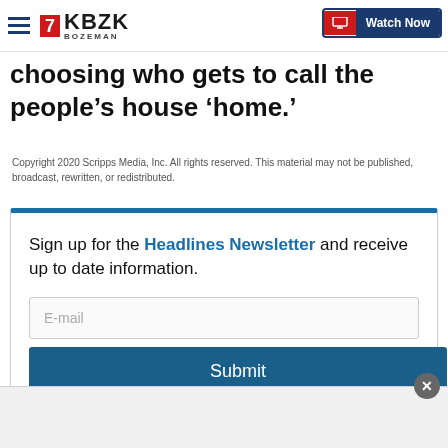KBZK Bozeman | Watch Now
choosing who gets to call the people’s house ‘home.’
Copyright 2020 Scripps Media, Inc. All rights reserved. This material may not be published, broadcast, rewritten, or redistributed.
Sign up for the Headlines Newsletter and receive up to date information.
E-mail
Submit